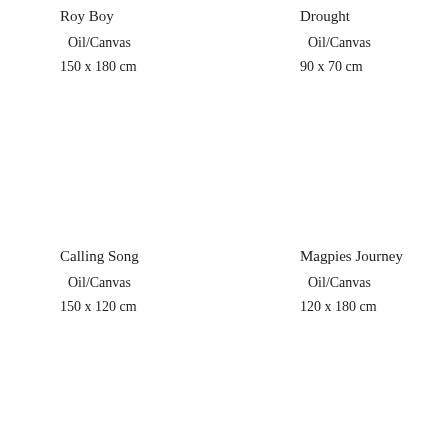Roy Boy
Oil/Canvas
150 x 180 cm
Drought
Oil/Canvas
90 x 70 cm
Calling Song
Oil/Canvas
150 x 120 cm
Magpies Journey
Oil/Canvas
120 x 180 cm